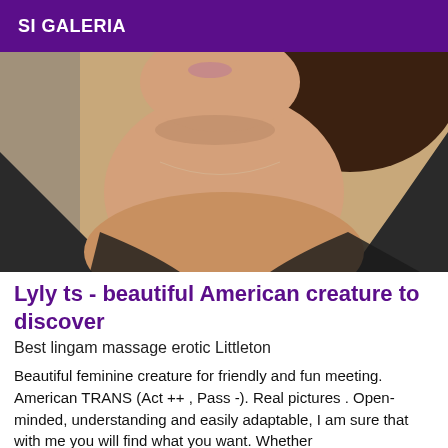SI GALERIA
[Figure (photo): Close-up photo of a person showing neck and décolletage area, wearing a dark top, with curly dark hair, against a light background.]
Lyly ts - beautiful American creature to discover
Best lingam massage erotic Littleton
Beautiful feminine creature for friendly and fun meeting. American TRANS (Act ++ , Pass -). Real pictures . Open-minded, understanding and easily adaptable, I am sure that with me you will find what you want. Whether